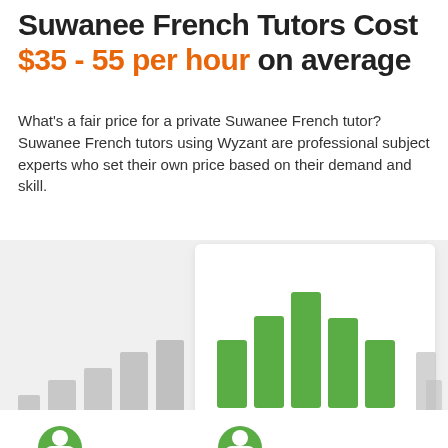Suwanee French Tutors Cost $35 - 55 per hour on average
What's a fair price for a private Suwanee French tutor? Suwanee French tutors using Wyzant are professional subject experts who set their own price based on their demand and skill.
[Figure (histogram): Tutor price distribution]